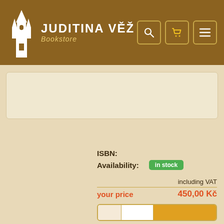JUDITINA VĚŽ Bookstore
[Figure (other): Banner/advertisement area placeholder, light beige rounded rectangle]
ISBN:
Availability: in stock
including VAT
your price   450,00 Kč